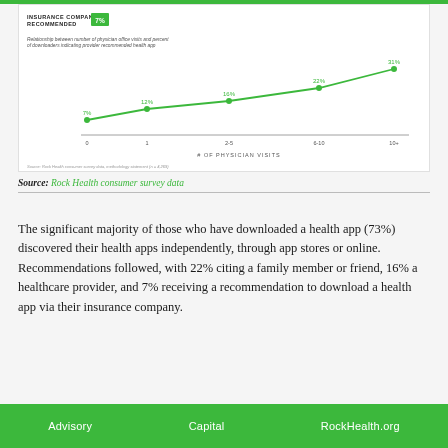[Figure (line-chart): Relationship between number of physician office visits and percent of downloaders indicating provider recommended health app. Line chart with points at 0 visits: 7%, 1 visit: 12%, 2-5 visits: 16%, 6-10 visits: 22%, 10+ visits: 31%.]
Source: Rock Health consumer survey data
The significant majority of those who have downloaded a health app (73%) discovered their health apps independently, through app stores or online. Recommendations followed, with 22% citing a family member or friend, 16% a healthcare provider, and 7% receiving a recommendation to download a health app via their insurance company.
Advisory   Capital   RockHealth.org